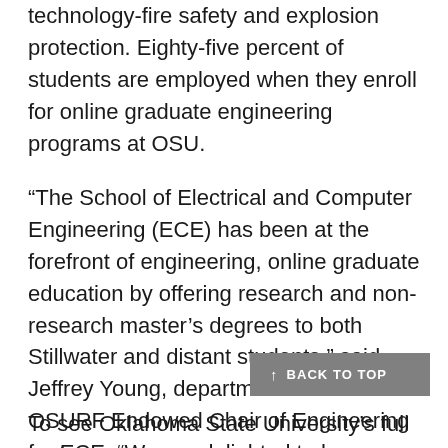technology-fire safety and explosion protection. Eighty-five percent of students are employed when they enroll for online graduate engineering programs at OSU.
“The School of Electrical and Computer Engineering (ECE) has been at the forefront of engineering, online graduate education by offering research and non-research master’s degrees to both Stillwater and distant students,” said Jeffrey Young, department head and OSURF Endowed Chair of Engineering for ECE. “We are delighted to have contributed to CEAT’s elevated ranking by U.S. News & World Report.”
To see Oklahoma State University’s full rank